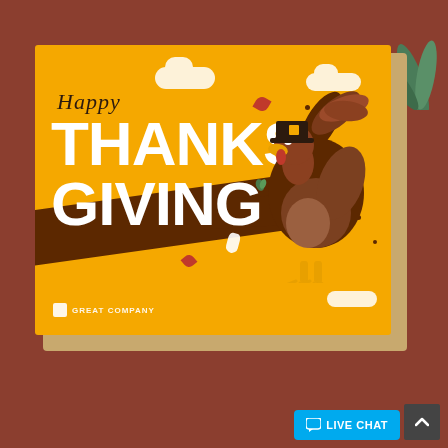[Figure (illustration): A Thanksgiving greeting card mockup displayed on a brown/rust background. The card has a yellow/amber background featuring a cartoon turkey wearing a pilgrim hat, perched on a brown tree branch. The card reads 'Happy THANKS GIVING' in white bold text with a cursive 'Happy' above. A 'GREAT COMPANY' logo is in the bottom left of the card. There are cloud decorations, red and green leaf accents throughout. In the bottom right corner of the page is a blue 'LIVE CHAT' button with a chat bubble icon, and a dark scroll-up arrow button. Green plant leaves peek out from the top right background.]